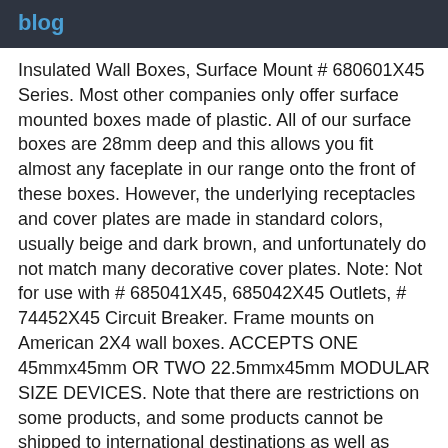blog
Insulated Wall Boxes, Surface Mount # 680601X45 Series. Most other companies only offer surface mounted boxes made of plastic. All of our surface boxes are 28mm deep and this allows you fit almost any faceplate in our range onto the front of these boxes. However, the underlying receptacles and cover plates are made in standard colors, usually beige and dark brown, and unfortunately do not match many decorative cover plates. Note: Not for use with # 685041X45, 685042X45 Outlets, # 74452X45 Circuit Breaker. Frame mounts on American 2X4 wall boxes. ACCEPTS ONE 45mmx45mm OR TWO 22.5mmx45mm MODULAR SIZE DEVICES. Note that there are restrictions on some products, and some products cannot be shipped to international destinations as well as Highlands or Northern Ireland. Because these decorative cover plates overlay the existing cover plate, the existing cover plate...